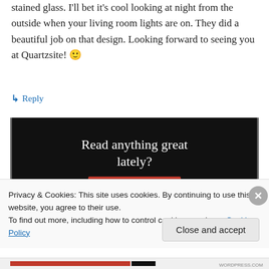stained glass. I'll bet it's cool looking at night from the outside when your living room lights are on. They did a beautiful job on that design. Looking forward to seeing you at Quartzsite! 🙂
↳ Reply
[Figure (screenshot): Advertisement banner with black background reading 'Read anything great lately?' with a red 'Start reading' button]
Privacy & Cookies: This site uses cookies. By continuing to use this website, you agree to their use.
To find out more, including how to control cookies, see here: Cookie Policy
Close and accept